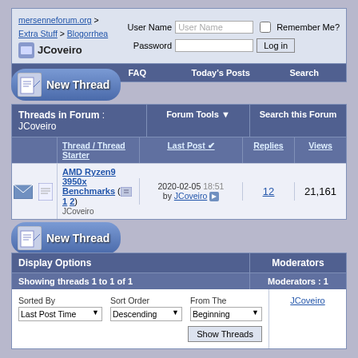mersenneforum.org > Extra Stuff > Blogorrhea > JCoveiro | User Name | Password | Remember Me? | Log in
Register | FAQ | Today's Posts | Search
[Figure (screenshot): New Thread button with icon]
| Threads in Forum : JCoveiro | Forum Tools | Search this Forum | Thread / Thread Starter | Last Post | Replies | Views |
| --- | --- | --- | --- | --- | --- | --- |
| AMD Ryzen9 3950x Benchmarks (1 2) JCoveiro | 2020-02-05 18:51 by JCoveiro | 12 | 21,161 |
[Figure (screenshot): New Thread button with icon]
| Display Options | Moderators |
| --- | --- |
| Showing threads 1 to 1 of 1 | Moderators : 1 |
| Sorted By: Last Post Time | Sort Order: Descending | From The: Beginning | Show Threads | JCoveiro |